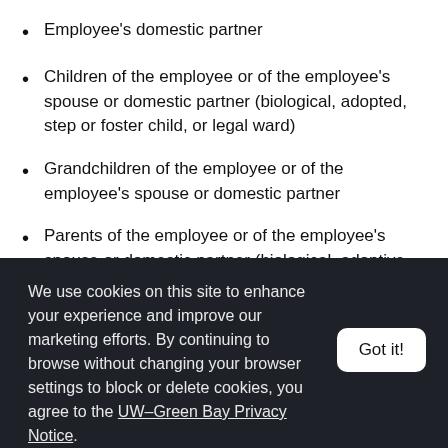Employee's domestic partner
Children of the employee or of the employee's spouse or domestic partner (biological, adopted, step or foster child, or legal ward)
Grandchildren of the employee or of the employee's spouse or domestic partner
Parents of the employee or of the employee's spouse or domestic partner (biological, adoptive, stepparent, foster parent, or legal guardian)
We use cookies on this site to enhance your experience and improve our marketing efforts. By continuing to browse without changing your browser settings to block or delete cookies, you agree to the UW–Green Bay Privacy Notice.